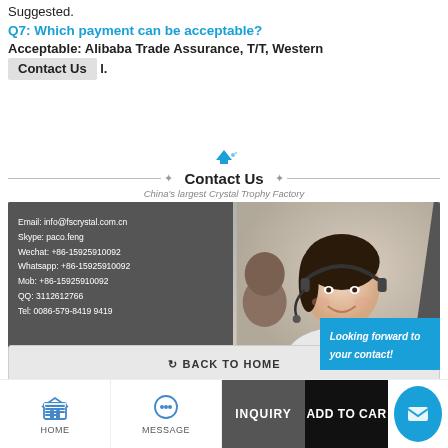Suggested.
Q7: Which payment can be acceptable?
Acceptable: Alibaba Trade Assurance, T/T, Western Contact Us l.
[Figure (infographic): Contact Us section banner with decorative arrow/triangle icon, horizontal lines with gear icons, subtitle 'China's largest Crystal Trophy Factory', and a contact info card showing email: info@fscrystal.com.cn, Skype: paco.feng, Wechat: +86-15925910092, Whatsapp: +86-15925910092, Mob: +86-15925910092, QQ: 3112612766, Tel: 0086-579-8419 9419, with a photo of a smiling woman with headset and blue banner reading 'Looking forward to your contact!']
BACK TO HOME
HOME | MESSAGE | INQUIRY | ADD TO CART